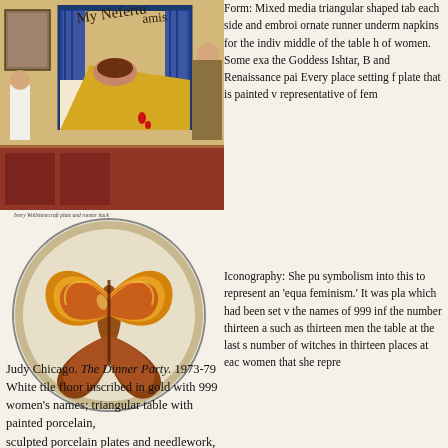[Figure (illustration): Painting showing a bedroom scene with canopy bed and figures, in earthy tones. Appears to be artwork related to The Dinner Party by Judy Chicago.]
Ivory Wollstonecraft plate and runner back
[Figure (photo): Circular porcelain plate with abstract painted design in gold, red, brown, and earth tones forming a butterfly/flame-like central motif.]
Judy Chicago. The Dinner Party. 1973-79
White tile floor inscribed in gold with 999 women's names; triangular table with painted porcelain,
sculpted porcelain plates and needlework,
each side 48'
Form: Mixed media triangular shaped tab each side and embroi ornate runner underm napkins for the indiv middle of the table h of women. Some exa the Goddess Ishtar, B and Renaissance pai Every place setting f plate that is painted v representative of fem
Iconography: She pu symbolism into this to represent an 'equa feminism.' It was pla which had been set v the names of 999 inf the number thirteen a such as thirteen men the table at the last s number of witches in thirteen places at eac women that she repre